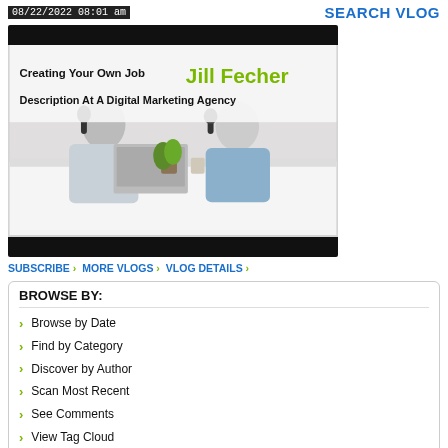08/22/2022 08:01 am    SEARCH VLOG
[Figure (photo): Video thumbnail showing two people at a table with microphones and a laptop, text overlay reads 'Creating Your Own Job Description At A Digital Marketing Agency' and 'Jill Fecher']
SUBSCRIBE › MORE VLOGS › VLOG DETAILS ›
BROWSE BY:
Browse by Date
Find by Category
Discover by Author
Scan Most Recent
See Comments
View Tag Cloud